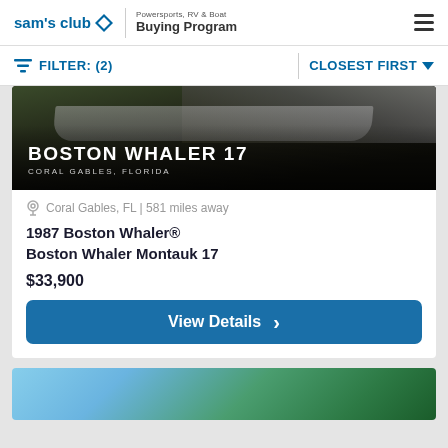sam's club | Powersports, RV & Boat Buying Program
FILTER: (2)   CLOSEST FIRST
[Figure (photo): Photo of a Boston Whaler 17 boat on a trailer with overlay text 'BOSTON WHALER 17' and 'CORAL GABLES, FLORIDA']
Coral Gables, FL | 581 miles away
1987 Boston Whaler® Boston Whaler Montauk 17
$33,900
View Details
[Figure (photo): Partial view of a second boat listing image showing blue sky and tropical vegetation]